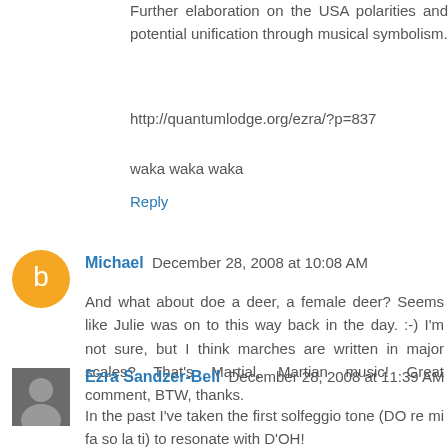Further elaboration on the USA polarities and potential unification through musical symbolism.
http://quantumlodge.org/ezra/?p=837
waka waka waka
Reply
Michael  December 28, 2008 at 10:08 AM
And what about doe a deer, a female deer? Seems like Julie was on to this way back in the day. :-) I'm not sure, but I think marches are written in major scales? That's Martial, Martian music! Great comment, BTW, thanks.
Reply
Ezra Sandzer-Bell  December 28, 2008 at 11:39 AM
In the past I've taken the first solfeggio tone (DO re mi fa so la ti) to resonate with D'OH!